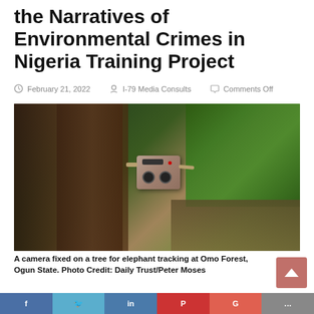the Narratives of Environmental Crimes in Nigeria Training Project
February 21, 2022   I-79 Media Consults   Comments Off
[Figure (photo): A camera trap/trail camera fixed to a tree trunk in a lush forest at Omo Forest, Ogun State. The camera is a box-shaped brown device with two circular lenses and a red LED indicator, strapped to the tree. Dense green vegetation and tree trunks are visible in the background.]
A camera fixed on a tree for elephant tracking at Omo Forest, Ogun State. Photo Credit: Daily Trust/Peter Moses